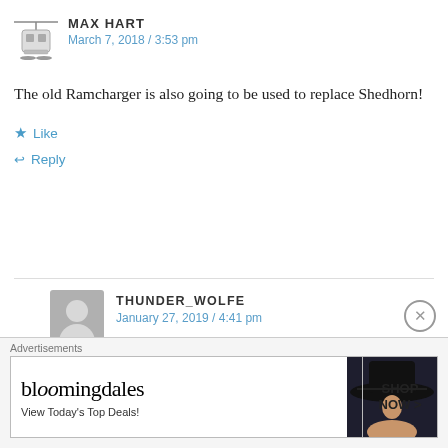MAX HART
March 7, 2018 / 3:53 pm
The old Ramcharger is also going to be used to replace Shedhorn!
★ Like
↩ Reply
THUNDER_WOLFE
January 27, 2019 / 4:41 pm
hey Max went to big sky not to long ago and the new ramcharger 8 is amazing. I also
Advertisements
[Figure (screenshot): Bloomingdale's advertisement banner showing logo, 'View Today's Top Deals!' tagline, woman with large hat, and 'SHOP NOW >' button]